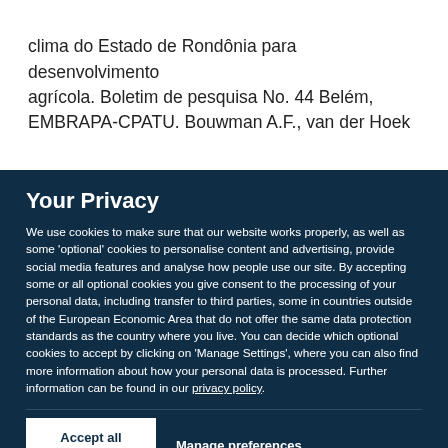clima do Estado de Rondônia para desenvolvimento agrícola. Boletim de pesquisa No. 44 Belém, EMBRAPA-CPATU. Bouwman A.F., van der Hoek
Your Privacy
We use cookies to make sure that our website works properly, as well as some 'optional' cookies to personalise content and advertising, provide social media features and analyse how people use our site. By accepting some or all optional cookies you give consent to the processing of your personal data, including transfer to third parties, some in countries outside of the European Economic Area that do not offer the same data protection standards as the country where you live. You can decide which optional cookies to accept by clicking on 'Manage Settings', where you can also find more information about how your personal data is processed. Further information can be found in our privacy policy.
Accept all cookies
Manage preferences